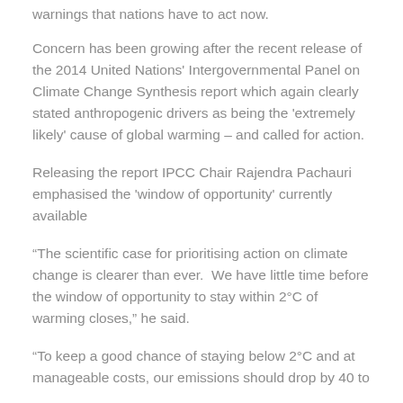warnings that nations have to act now.
Concern has been growing after the recent release of the 2014 United Nations' Intergovernmental Panel on Climate Change Synthesis report which again clearly stated anthropogenic drivers as being the 'extremely likely' cause of global warming – and called for action.
Releasing the report IPCC Chair Rajendra Pachauri emphasised the 'window of opportunity' currently available
“The scientific case for prioritising action on climate change is clearer than ever.  We have little time before the window of opportunity to stay within 2°C of warming closes,” he said.
“To keep a good chance of staying below 2°C and at manageable costs, our emissions should drop by 40 to